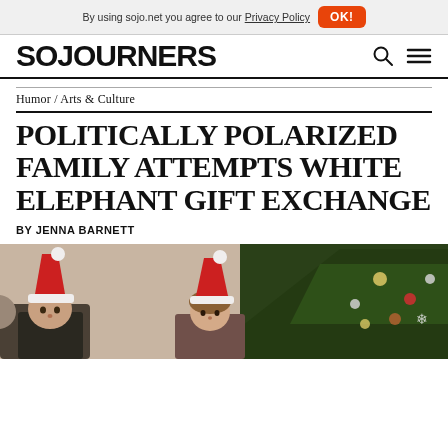By using sojo.net you agree to our Privacy Policy  OK!
SOJOURNERS
Humor / Arts & Culture
POLITICALLY POLARIZED FAMILY ATTEMPTS WHITE ELEPHANT GIFT EXCHANGE
BY JENNA BARNETT
[Figure (photo): Two people wearing Santa hats sitting in front of a Christmas tree decorated with ornaments]